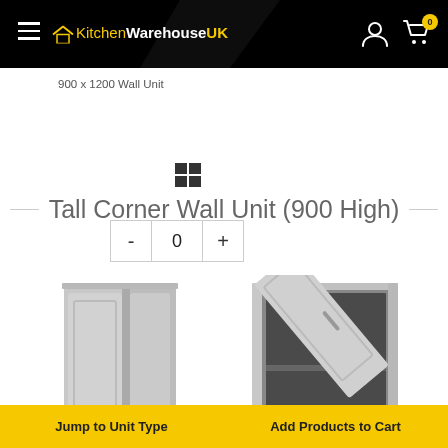KitchenWarehouseUK
900 x 1200 Wall Unit
[Figure (screenshot): Quantity selector with minus, 0, plus buttons]
[Figure (other): List/grid view toggle icon]
Tall Corner Wall Unit (900 High)
[Figure (photo): Corner wall cabinet unit, closed, front view, grey finish]
[Figure (photo): Corner wall cabinet unit, open door, interior view, grey finish]
Jump to Unit Type
Add Products to Cart